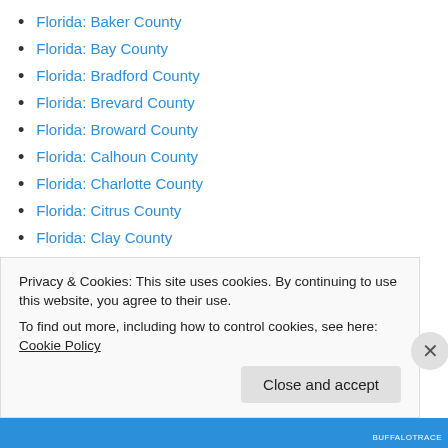Florida: Baker County
Florida: Bay County
Florida: Bradford County
Florida: Brevard County
Florida: Broward County
Florida: Calhoun County
Florida: Charlotte County
Florida: Citrus County
Florida: Clay County
Florida: Collier County
Florida: Columbia County
Florida: DeSoto County
Florida: Dixie County
Privacy & Cookies: This site uses cookies. By continuing to use this website, you agree to their use.
To find out more, including how to control cookies, see here: Cookie Policy